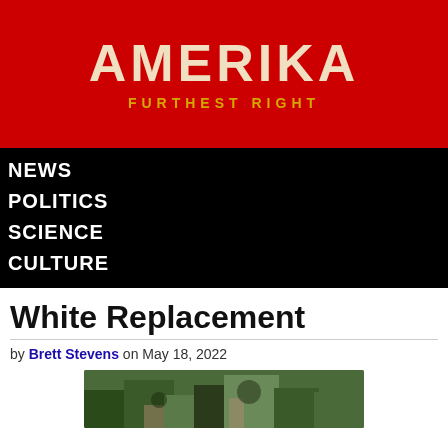AMERIKA — FURTHEST RIGHT
NEWS
POLITICS
SCIENCE
CULTURE
White Replacement
by Brett Stevens on May 18, 2022
[Figure (photo): Partial view of a classical-style painting or photograph showing figures in a natural outdoor setting with trees]